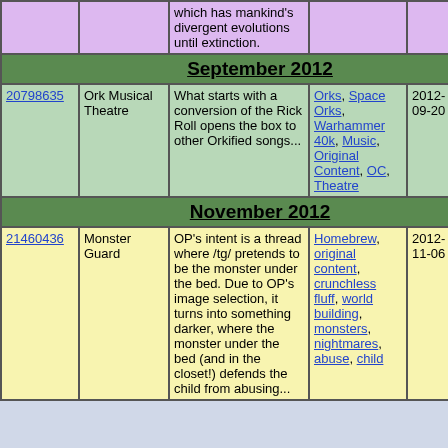| ID | Title | Description | Tags | Date | # |  |
| --- | --- | --- | --- | --- | --- | --- |
|  |  | which has mankind's divergent evolutions until extinction. |  |  |  |  |
| September 2012 |  |  |  |  |  |  |
| 20798635 | Ork Musical Theatre | What starts with a conversion of the Rick Roll opens the box to other Orkified songs... | Orks, Space Orks, Warhammer 40k, Music, Original Content, OC, Theatre | 2012-09-20 | 8 |  |
| November 2012 |  |  |  |  |  |  |
| 21460436 | Monster Guard | OP's intent is a thread where /tg/ pretends to be the monster under the bed. Due to OP's image selection, it turns into something darker, where the monster under the bed (and in the closet!) defends the child from abusing... | Homebrew, original content, crunchless fluff, world building, monsters, nightmares, abuse, child | 2012-11-06 | 21 |  |